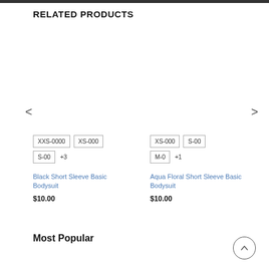RELATED PRODUCTS
< (left navigation arrow)
> (right navigation arrow)
XXS-0000  XS-000  S-00  +3
Black Short Sleeve Basic Bodysuit
$10.00
XS-000  S-00  M-0  +1
Aqua Floral Short Sleeve Basic Bodysuit
$10.00
Most Popular